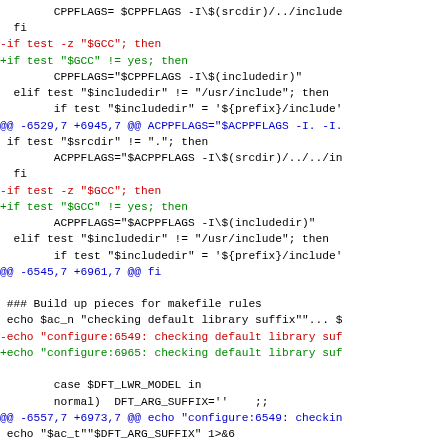Diff/patch code block showing changes to configure script lines around CPPFLAGS, ACPPFLAGS, GCC tests, and library suffix checking